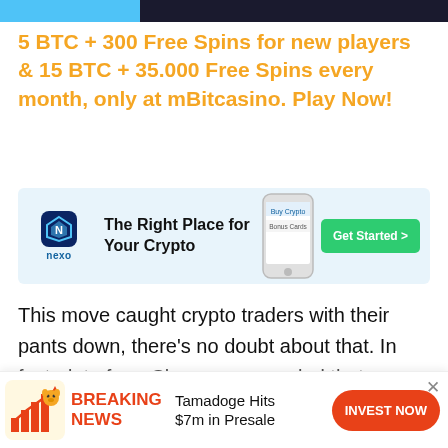5 BTC + 300 Free Spins for new players & 15 BTC + 35.000 Free Spins every month, only at mBitcasino. Play Now!
[Figure (infographic): Nexo advertisement banner: The Right Place for Your Crypto, with Get Started button, nexo logo, and phone image]
This move caught crypto traders with their pants down, there's no doubt about that. In fact, data from Skew.com revealed that around $50 million worth of long positions were liquidated in this flash move lower, though few short positions were liquidated on
[Figure (infographic): Breaking News banner: Tamadoge Hits $7m in Presale with INVEST NOW button and dog/chart icon]